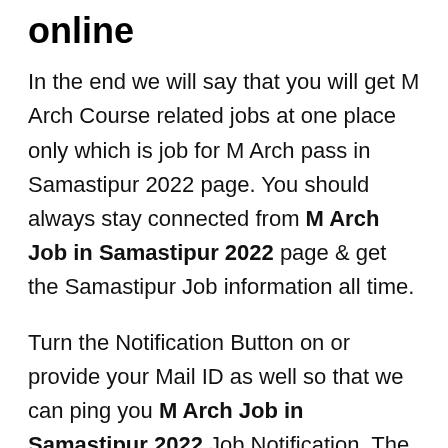online
In the end we will say that you will get M Arch Course related jobs at one place only which is job for M Arch pass in Samastipur 2022 page. You should always stay connected from M Arch Job in Samastipur 2022 page & get the Samastipur Job information all time.
Turn the Notification Button on or provide your Mail ID as well so that we can ping you M Arch Job in Samastipur 2022 Job Notification. The Notification button is provided on below of job in Samastipur for M Arch pass page.
Upcoming M Arch Jobs full details like dates of Interview will be here only. If any company require M Arch Holders in Samastipur, we will inform all of